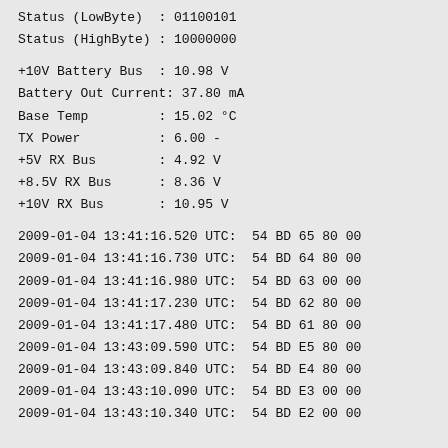Status (LowByte)  : 01100101
Status (HighByte) : 10000000
+10V Battery Bus  : 10.98 V
Battery Out Current: 37.80 mA
Base Temp         : 15.02 °C
TX Power          : 6.00 -
+5V RX Bus        : 4.92 V
+8.5V RX Bus      : 8.36 V
+10V RX Bus       : 10.95 V
2009-01-04 13:41:16.520 UTC:  54 BD 65 80 00
2009-01-04 13:41:16.730 UTC:  54 BD 64 80 00
2009-01-04 13:41:16.980 UTC:  54 BD 63 00 00
2009-01-04 13:41:17.230 UTC:  54 BD 62 80 00
2009-01-04 13:41:17.480 UTC:  54 BD 61 80 00
2009-01-04 13:43:09.590 UTC:  54 BD E5 80 00
2009-01-04 13:43:09.840 UTC:  54 BD E4 80 00
2009-01-04 13:43:10.090 UTC:  54 BD E3 00 00
2009-01-04 13:43:10.340 UTC:  54 BD E2 00 00